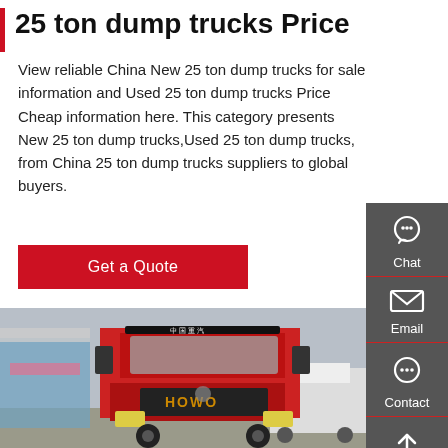25 ton dump trucks Price
View reliable China New 25 ton dump trucks for sale information and Used 25 ton dump trucks Price Cheap information here. This category presents New 25 ton dump trucks,Used 25 ton dump trucks, from China 25 ton dump trucks suppliers to global buyers.
Get a Quote
[Figure (photo): Front view of a red HOWO dump truck parked in a truck yard with other white trucks and a loading area in the background]